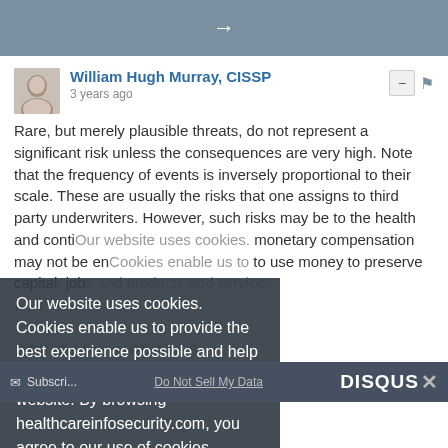→
William Hugh Murray, CISSP
3 years ago
Rare, but merely plausible threats, do not represent a significant risk unless the consequences are very high. Note that the frequency of events is inversely proportional to their scale. These are usually the risks that one assigns to third party underwriters. However, such risks may be to the health and conti... monetary compensation may not be en... to use money to preserve capital, jobs, and products and services.
Our website uses cookies. Cookies enable us to provide the best experience possible and help us understand how visitors use our website. By browsing healthcareinfosecurity.com, you agree to our use of cookies.
GET DAILY UPDATES
Covering topics in risk management, compliance, fraud, and...